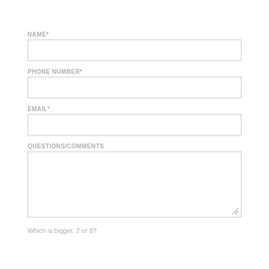NAME*
PHONE NUMBER*
EMAIL*
QUESTIONS/COMMENTS
Which is bigger, 2 or 8?